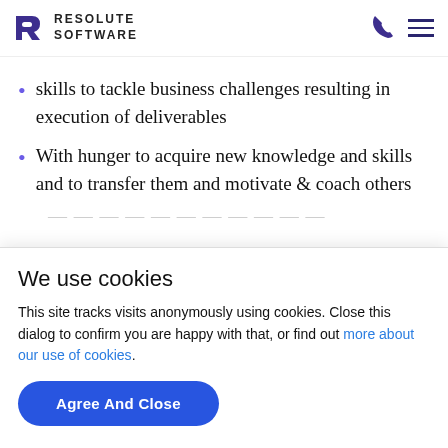RESOLUTE SOFTWARE
skills to tackle business challenges resulting in execution of deliverables
With hunger to acquire new knowledge and skills and to transfer them and motivate & coach others
We use cookies
This site tracks visits anonymously using cookies. Close this dialog to confirm you are happy with that, or find out more about our use of cookies.
Agree And Close